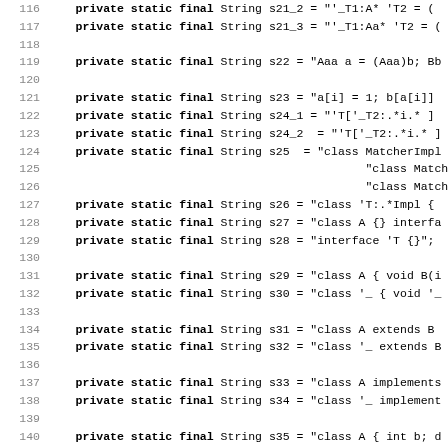Code listing showing Java private static final String declarations, lines 116-147+
| line | code |
| --- | --- |
| 116 |     private static final String s21_2 = "'_T1:A* 'T2 = ( |
| 117 |     private static final String s21_3 = "'_T1:Aa* 'T2 = ( |
| 118 |  |
| 119 |     private static final String s22 = "Aaa a = (Aaa)b; Bb |
| 120 |  |
| 121 |     private static final String s23 = "a[i] = 1; b[a[i]] |
| 122 |     private static final String s24_1 = "'T['_T2:.*i.* ] |
| 123 |     private static final String s24_2 = "'T['_T2:.*i.* ] |
| 124 |     private static final String s25  = "class MatcherImpl |
| 125 |                                               "class Matcher { a |
| 126 |                                               "class Matcher2Im |
| 127 |     private static final String s26 = "class 'T:.*Impl { |
| 128 |     private static final String s27 = "class A {} interfa |
| 129 |     private static final String s28 = "interface 'T {}"; |
| 130 |  |
| 131 |     private static final String s29 = "class A { void B(i |
| 132 |     private static final String s30 = "class '_ { void '_ |
| 133 |  |
| 134 |     private static final String s31 = "class A extends B |
| 135 |     private static final String s32 = "class '_ extends B |
| 136 |  |
| 137 |     private static final String s33 = "class A implements |
| 138 |     private static final String s34 = "class '_ implement |
| 139 |  |
| 140 |     private static final String s35 = "class A { int b; d |
| 141 |                                               "class A2 { int b; |
| 142 |     private static final String s36 = "class '_ { double |
| 143 |  |
| 144 |     private static final String s37 = "class A { void d() |
| 145 |     private static final String s38 = "class 'T { '_ '_() |
| 146 |  |
| 147 |     private static final String s39 = "class A extends B |